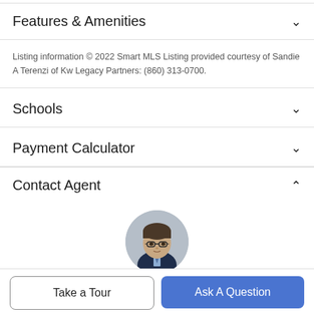Features & Amenities
Listing information © 2022 Smart MLS Listing provided courtesy of Sandie A Terenzi of Kw Legacy Partners: (860) 313-0700.
Schools
Payment Calculator
Contact Agent
[Figure (photo): Circular headshot photo of a man with glasses wearing a suit and tie, gray background]
Take a Tour
Ask A Question